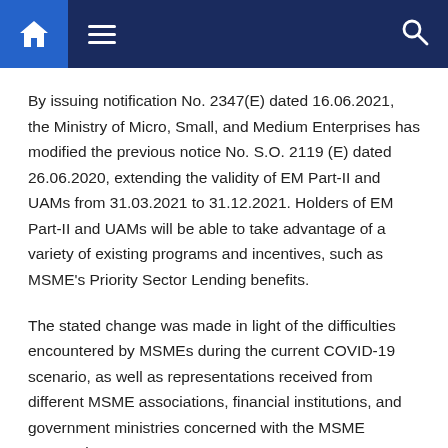Navigation bar with home, menu, and search icons
By issuing notification No. 2347(E) dated 16.06.2021, the Ministry of Micro, Small, and Medium Enterprises has modified the previous notice No. S.O. 2119 (E) dated 26.06.2020, extending the validity of EM Part-II and UAMs from 31.03.2021 to 31.12.2021. Holders of EM Part-II and UAMs will be able to take advantage of a variety of existing programs and incentives, such as MSME's Priority Sector Lending benefits.
The stated change was made in light of the difficulties encountered by MSMEs during the current COVID-19 scenario, as well as representations received from different MSME associations, financial institutions, and government ministries concerned with the MSME sector's interests.